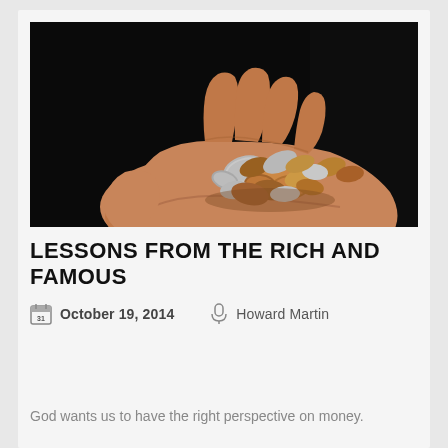[Figure (photo): A hand holding a pile of coins against a dark black background]
LESSONS FROM THE RICH AND FAMOUS
October 19, 2014   Howard Martin
God wants us to have the right perspective on money.